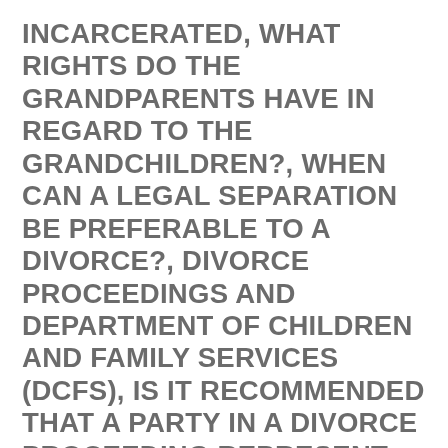INCARCERATED, WHAT RIGHTS DO THE GRANDPARENTS HAVE IN REGARD TO THE GRANDCHILDREN?, WHEN CAN A LEGAL SEPARATION BE PREFERABLE TO A DIVORCE?, DIVORCE PROCEEDINGS AND DEPARTMENT OF CHILDREN AND FAMILY SERVICES (DCFS), IS IT RECOMMENDED THAT A PARTY IN A DIVORCE PROCEEDING REPRESENT HIMSELF OR HERSELF PRO SE, AND SHOULD BOTH PARTIES EVER USE THE SAME ATTORNEY OR LAW FIRM IN A DIVORCE PROCEEDING?, SHOULD YOU ASK YOUR DIVORCE ATTORNEY TO ALSO GIVE YOU ADVICE REGARDING ESTATE PLANNING, OR PREPARE ESTATE PLANNING DOCUMENTS FOR YOU OR ASK YOUR ATTORNEY FOR ASSISTANCE IN REGARD TO TAX MATTERS OR HAVE YOUR ATTORNEY PREPARE TAX RETURNS FOR YOU,